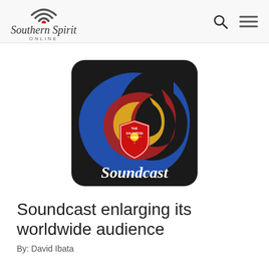Southern Spirit Online
[Figure (logo): Soundcast logo: dark rounded square with blue, red, and yellow swoosh arcs and a red Salvation Army shield badge, with 'Soundcast' text in white cursive at the bottom]
Soundcast enlarging its worldwide audience
By: David Ibata